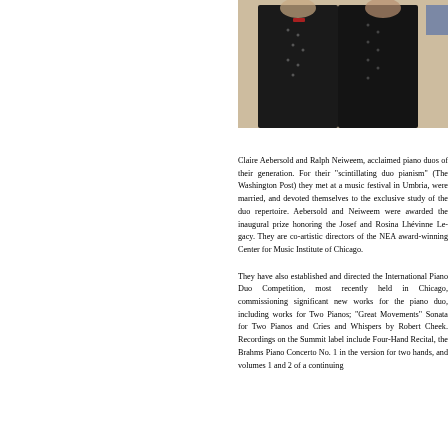[Figure (photo): Photo of Claire Aebersold and Ralph Neiweem, two pianists dressed in dark clothing with decorative details, photographed together]
Claire Aebersold and Ralph Neiwe... acclaimed piano duos of their genera... pianism" (The Washington Post) they... at a music festival in Umbria, were m... the exclusive study of the duo rep... Neiweem were awarded the inaugur... the Josef and Rosina Lhévinne Le... directors of the NEA award-winning C... Music Institute of Chicago.
They have also established and ... Competition, most recently held i... significant new works for the piano ... Two Pianos; "Great Movements" So... and Cries and Whispers by Robert Ch... Summit label include Four-Hand Re... Brahms Piano Concerto No. 1 in the... hands, and volumes 1 and 2 of a con...